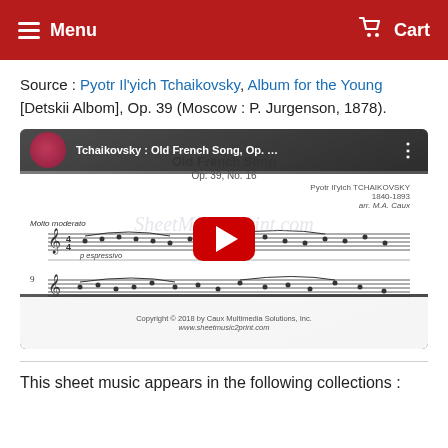Menu   Cart
Source : Pyotr Il'yich Tchaikovsky, Album for the Young [Detskii Albom], Op. 39 (Moscow : P. Jurgenson, 1878).
[Figure (screenshot): YouTube video thumbnail showing sheet music for Tchaikovsky's Old French Song, Op. 39, No. 16 with a red play button overlay]
This sheet music appears in the following collections :